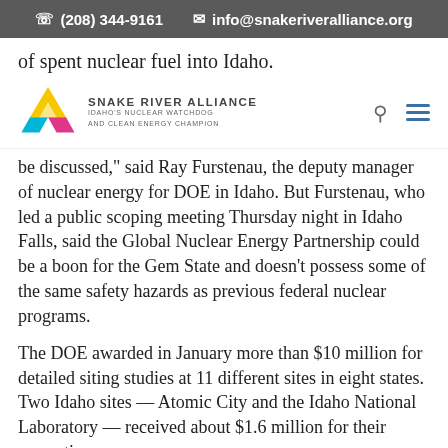(208) 344-9161   info@snakeriveralliance.org
of spent nuclear fuel into Idaho.
[Figure (logo): Snake River Alliance logo with colored triangular nuclear symbol (yellow, cyan, magenta) and text: SNAKE RIVER ALLIANCE – IDAHO'S NUCLEAR WATCHDOG AND CLEAN ENERGY CHAMPION]
be discussed," said Ray Furstenau, the deputy manager of nuclear energy for DOE in Idaho. But Furstenau, who led a public scoping meeting Thursday night in Idaho Falls, said the Global Nuclear Energy Partnership could be a boon for the Gem State and doesn't possess some of the same safety hazards as previous federal nuclear programs.
The DOE awarded in January more than $10 million for detailed siting studies at 11 different sites in eight states. Two Idaho sites — Atomic City and the Idaho National Laboratory — received about $1.6 million for their respective